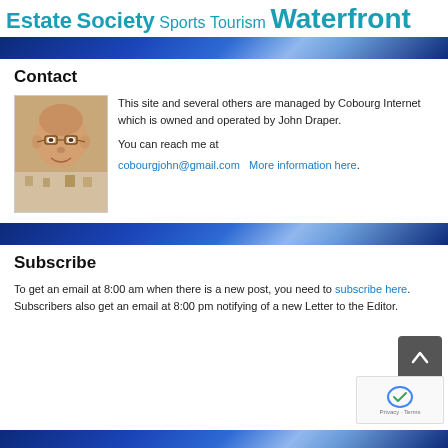Estate Society Sports Tourism Waterfront
Contact
[Figure (photo): Headshot of an older man with glasses, smiling, wearing a patterned shirt]
This site and several others are managed by Cobourg Internet which is owned and operated by John Draper.

You can reach me at cobourgjohn@gmail.com  More information here.
Subscribe
To get an email at 8:00 am when there is a new post, you need to subscribe here.  Subscribers also get an email at 8:00 pm notifying of a new Letter to the Editor.